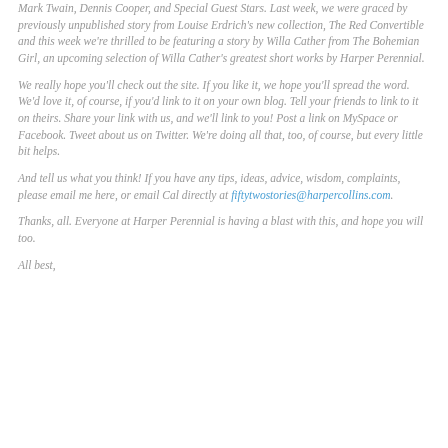Mark Twain, Dennis Cooper, and Special Guest Stars. Last week, we were graced by previously unpublished story from Louise Erdrich's new collection, The Red Convertible and this week we're thrilled to be featuring a story by Willa Cather from The Bohemian Girl, an upcoming selection of Willa Cather's greatest short works by Harper Perennial.
We really hope you'll check out the site. If you like it, we hope you'll spread the word. We'd love it, of course, if you'd link to it on your own blog. Tell your friends to link to it on theirs. Share your link with us, and we'll link to you! Post a link on MySpace or Facebook. Tweet about us on Twitter. We're doing all that, too, of course, but every little bit helps.
And tell us what you think! If you have any tips, ideas, advice, wisdom, complaints, please email me here, or email Cal directly at fiftytwostories@harpercollins.com.
Thanks, all. Everyone at Harper Perennial is having a blast with this, and hope you will too.
All best,